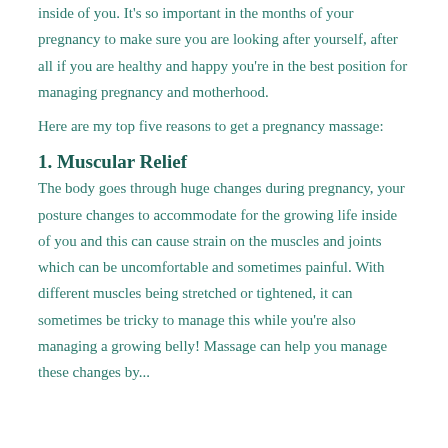inside of you. It's so important in the months of your pregnancy to make sure you are looking after yourself, after all if you are healthy and happy you're in the best position for managing pregnancy and motherhood.
Here are my top five reasons to get a pregnancy massage:
1. Muscular Relief
The body goes through huge changes during pregnancy, your posture changes to accommodate for the growing life inside of you and this can cause strain on the muscles and joints which can be uncomfortable and sometimes painful. With different muscles being stretched or tightened, it can sometimes be tricky to manage this while you're also managing a growing belly! Massage can help you manage these changes by...